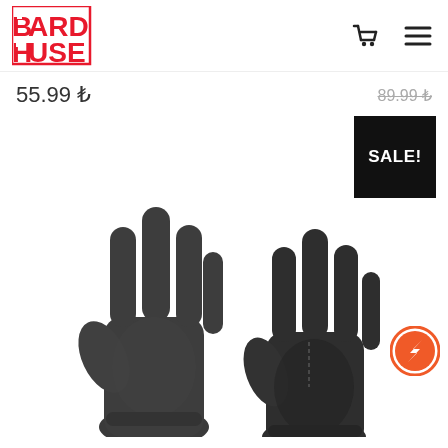[Figure (logo): Board House logo in red pixel-art style]
55.99 ₺
89.99 ₺ (strikethrough)
[Figure (photo): Two dark gray neoprene gloves displayed palm-forward against white background]
SALE!